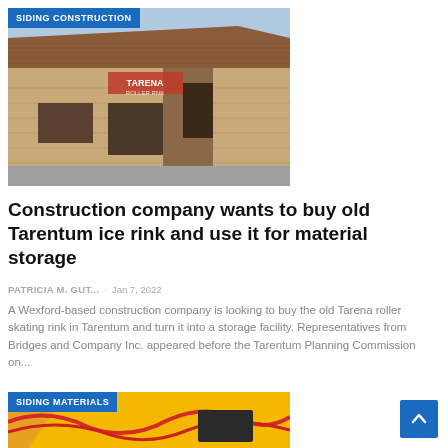[Figure (photo): Exterior of old Tarena roller skating rink building in Tarentum, brick facade with brown roof, labeled SIDING CONSTRUCTION]
Construction company wants to buy old Tarentum ice rink and use it for material storage
PATRICIA M. GUT...   Jan 7, 2022
A Wexford-based construction company is looking to buy the old Tarena roller skating rink in Tarentum and turn it into a storage facility. Representatives from Bridges and Company Inc. appeared before the Tarentum Planning Commission on...
[Figure (photo): Close-up of construction/siding materials including red wire, yellow panels, and dark material, labeled SIDING MATERIALS]